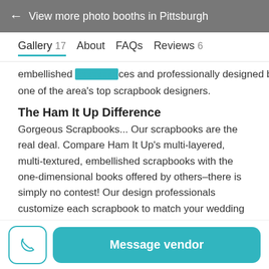← View more photo booths in Pittsburgh
Gallery 17   About   FAQs   Reviews 6
embellished [highlighted] ces and professionally designed by one of the area's top scrapbook designers.
The Ham It Up Difference
Gorgeous Scrapbooks... Our scrapbooks are the real deal. Compare Ham It Up's multi-layered, multi-textured, embellished scrapbooks with the one-dimensional books offered by others–there is simply no contest! Our design professionals customize each scrapbook to match your wedding colors and theme.
Creativity... Ham It Up is owned and operated by two graphic designers. Not only will your scrapbook be an artistic
Message vendor